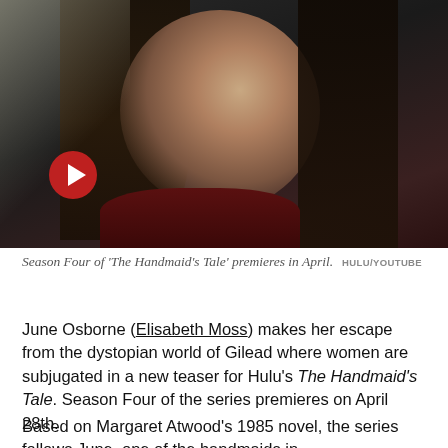[Figure (photo): Woman (Elisabeth Moss) looking upward in dramatic dark lighting, wearing dark red collar clothing. A red circular play button is visible in the lower left of the image.]
Season Four of 'The Handmaid's Tale' premieres in April. HULU/YOUTUBE
June Osborne (Elisabeth Moss) makes her escape from the dystopian world of Gilead where women are subjugated in a new teaser for Hulu's The Handmaid's Tale. Season Four of the series premieres on April 28th.
Based on Margaret Atwood's 1985 novel, the series follows June, one of the handmaids in